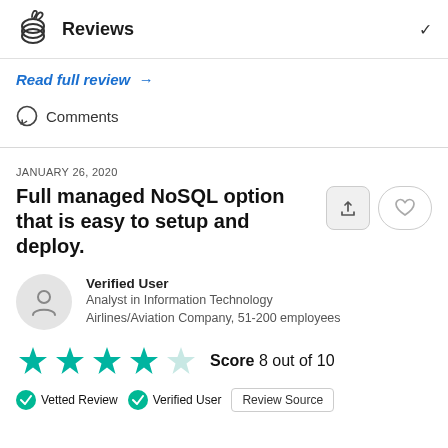Reviews
Read full review →
Comments
JANUARY 26, 2020
Full managed NoSQL option that is easy to setup and deploy.
Verified User
Analyst in Information Technology
Airlines/Aviation Company, 51-200 employees
Score 8 out of 10
Vetted Review  Verified User  Review Source